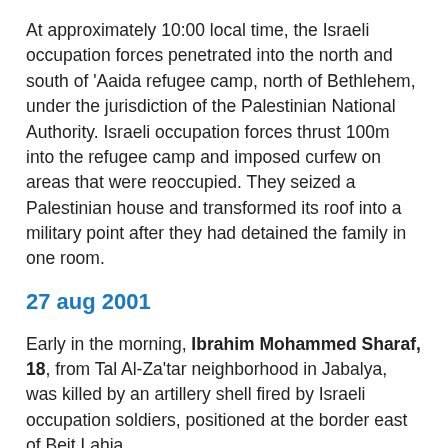At approximately 10:00 local time, the Israeli occupation forces penetrated into the north and south of 'Aaida refugee camp, north of Bethlehem, under the jurisdiction of the Palestinian National Authority. Israeli occupation forces thrust 100m into the refugee camp and imposed curfew on areas that were reoccupied. They seized a Palestinian house and transformed its roof into a military point after they had detained the family in one room.
27 aug 2001
Early in the morning, Ibrahim Mohammed Sharaf, 18, from Tal Al-Za'tar neighborhood in Jabalya, was killed by an artillery shell fired by Israeli occupation soldiers, positioned at the border east of Beit Lahia.
It has not been clear why Sharaf was in this area. However, initial investigations proved excessive use of force by the Israeli occupation forces, who fired an artillery shell at the victim without any prior warning and without having resorted to any less lethal means, especially as the victim was not armed. Sharaf was not known to be affiliated with any political party. It is likely that he was with some companions trying to sneak into Israeli territories, searching for work.